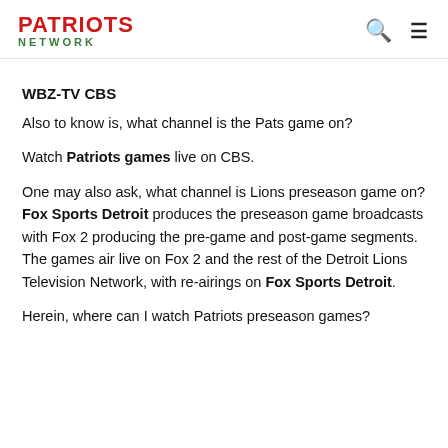PATRIOTS NETWORK
WBZ-TV CBS
Also to know is, what channel is the Pats game on?
Watch Patriots games live on CBS.
One may also ask, what channel is Lions preseason game on? Fox Sports Detroit produces the preseason game broadcasts with Fox 2 producing the pre-game and post-game segments. The games air live on Fox 2 and the rest of the Detroit Lions Television Network, with re-airings on Fox Sports Detroit.
Herein, where can I watch Patriots preseason games?